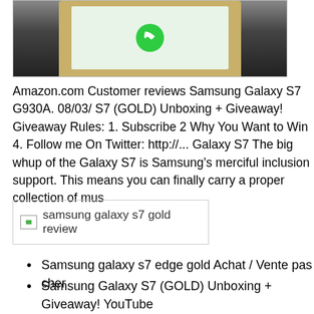[Figure (photo): Partial top view of a Samsung Galaxy S7 smartphone in gold color against a dark background, showing the upper portion of the device with screen icons visible]
Amazon.com Customer reviews Samsung Galaxy S7 G930A. 08/03/ S7 (GOLD) Unboxing + Giveaway! Giveaway Rules: 1. Subscribe 2 Why You Want to Win 4. Follow me On Twitter: http://... Galaxy S7 The big whup of the Galaxy S7 is Samsung’s merciful inclusion support. This means you can finally carry a proper collection of mus
[Figure (photo): Placeholder image for 'samsung galaxy s7 gold review']
Samsung galaxy s7 edge gold Achat / Vente pas cher
Samsung Galaxy S7 (GOLD) Unboxing + Giveaway! YouTube
Samsung galaxy s7 edge gold Achat / Vente pas cher
Amazon.co.ukCustomer reviews Samsung Galaxy S7 32GB
Find helpful customer reviews and review ratings for Samsung Gala (Verizon Wireless) - Gold at Amazon.com. Read honest and unbiased